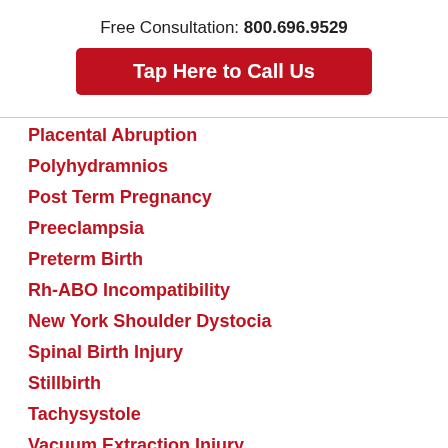Free Consultation: 800.696.9529
Tap Here to Call Us
Placental Abruption
Polyhydramnios
Post Term Pregnancy
Preeclampsia
Preterm Birth
Rh-ABO Incompatibility
New York Shoulder Dystocia
Spinal Birth Injury
Stillbirth
Tachysystole
Vacuum Extraction Injury